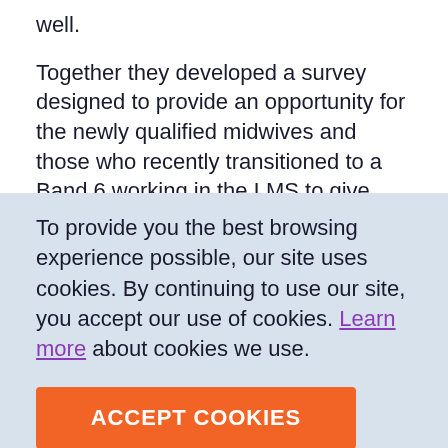well.
Together they developed a survey designed to provide an opportunity for the newly qualified midwives and those who recently transitioned to a Band 6 working in the LMS to give feedback on their experiences of their preceptorship period. The survey highlighted the areas of the preceptorship programme that were working well and some areas for development.
To provide you the best browsing experience possible, our site uses cookies. By continuing to use our site, you accept our use of cookies. Learn more about cookies we use.
ACCEPT COOKIES